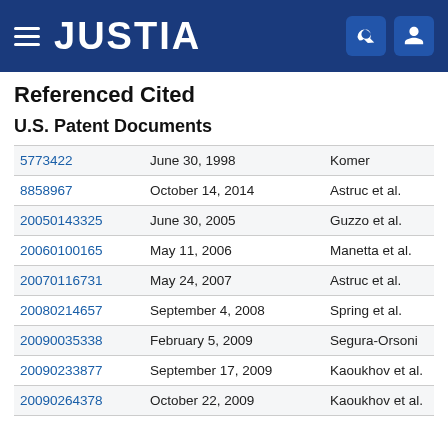JUSTIA
Referenced Cited
U.S. Patent Documents
| Patent No. | Date | Inventor |
| --- | --- | --- |
| 5773422 | June 30, 1998 | Komer |
| 8858967 | October 14, 2014 | Astruc et al. |
| 20050143325 | June 30, 2005 | Guzzo et al. |
| 20060100165 | May 11, 2006 | Manetta et al. |
| 20070116731 | May 24, 2007 | Astruc et al. |
| 20080214657 | September 4, 2008 | Spring et al. |
| 20090035338 | February 5, 2009 | Segura-Orsoni |
| 20090233877 | September 17, 2009 | Kaoukhov et al. |
| 20090264378 | October 22, 2009 | Kaoukhov et al. |